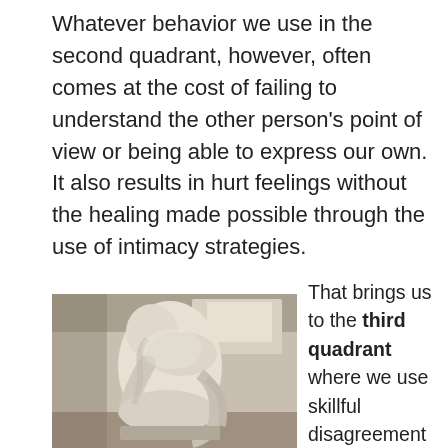Whatever behavior we use in the second quadrant, however, often comes at the cost of failing to understand the other person's point of view or being able to express our own. It also results in hurt feelings without the healing made possible through the use of intimacy strategies.
[Figure (photo): A classical marble statue of a crouching/bending figure, photographed in what appears to be a museum setting.]
That brings us to the third quadrant where we use skillful disagreement